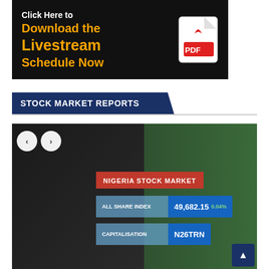[Figure (screenshot): Advertisement banner: 'Click Here to Download the Livestream Schedule Now' with PDF icon on dark background]
STOCK MARKET REPORTS
[Figure (screenshot): Nigeria Stock Market news broadcast screenshot showing a female presenter with overlay graphics: ALL SHARE INDEX 49,682.15 (0.04%) and CAPITALISATION N26TRN]